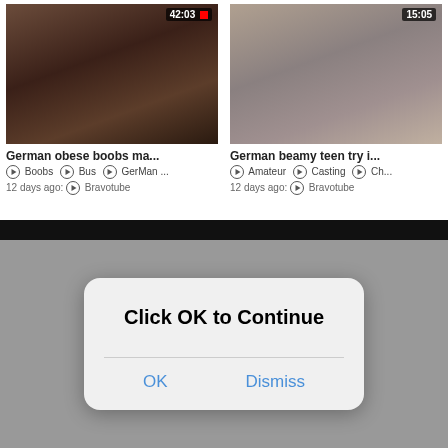[Figure (screenshot): Video thumbnail left - dark adult content scene]
42:03
German obese boobs ma...
⊙ Boobs ⊙ Bus ⊙ GerMan ...
12 days ago: ⊙ Bravotube
[Figure (screenshot): Video thumbnail right - woman with dark hair in gray shirt]
15:05
German beamy teen try i...
⊙ Amateur ⊙ Casting ⊙ Ch...
12 days ago: ⊙ Bravotube
[Figure (screenshot): Modal dialog overlay on gray background with 'Click OK to Continue' prompt and OK/Dismiss buttons]
Click OK to Continue
OK
Dismiss